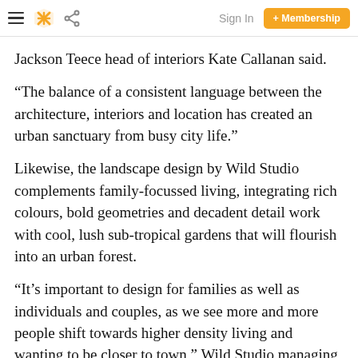Sign In  + Membership
Jackson Teece head of interiors Kate Callanan said.
“The balance of a consistent language between the architecture, interiors and location has created an urban sanctuary from busy city life.”
Likewise, the landscape design by Wild Studio complements family-focussed living, integrating rich colours, bold geometries and decadent detail work with cool, lush sub-tropical gardens that will flourish into an urban forest.
“It’s important to design for families as well as individuals and couples, as we see more and more people shift towards higher density living and wanting to be closer to town,” Wild Studio managing director Andrew Green said.